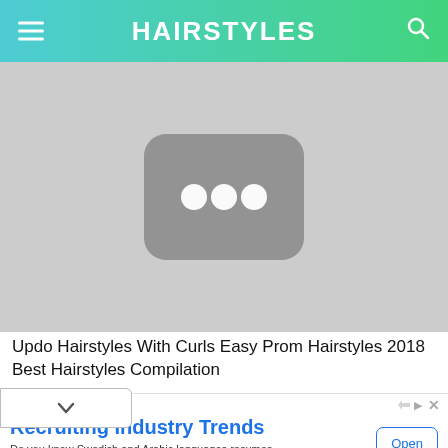HAIRSTYLES
[Figure (screenshot): YouTube-style video thumbnail placeholder showing a dark rounded rectangle with three white dots/circles in the center, on a light gray background.]
Updo Hairstyles With Curls Easy Prom Hairstyles 2018 Best Hairstyles Compilation
Recruiting Industry Trends
Do you know Swedish and Arabic languages resumes witnessed a massive Increase, Know More! RChilli Inc